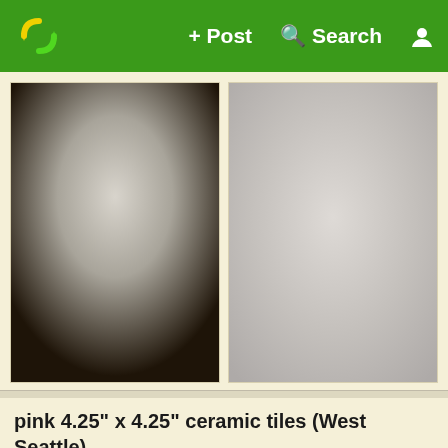+ Post   Search   [user icon]
[Figure (photo): Blurred gradient photo of item, dark brown at bottom fading to light gray at top (left thumbnail)]
[Figure (photo): Light gray textured photo (right thumbnail)]
pink 4.25" x 4.25" ceramic tiles (West Seattle)
20h - There are 4 of these light pink ceramic tiles. See other ...
[Figure (photo): Blurred photo, dark brown at edges fading to light center (second listing thumbnail)]